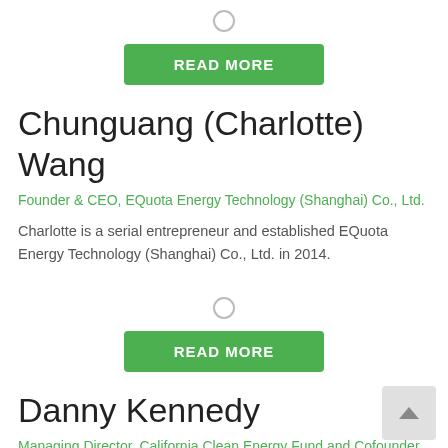[Figure (other): Circle icon / expand button]
READ MORE
Chunguang (Charlotte) Wang
Founder & CEO, EQuota Energy Technology (Shanghai) Co., Ltd.
Charlotte is a serial entrepreneur and established EQuota Energy Technology (Shanghai) Co., Ltd. in 2014.
[Figure (other): Circle icon / expand button]
READ MORE
Danny Kennedy
Managing Director, California Clean Energy Fund and Cofounder of Sungevity and Powerhouse